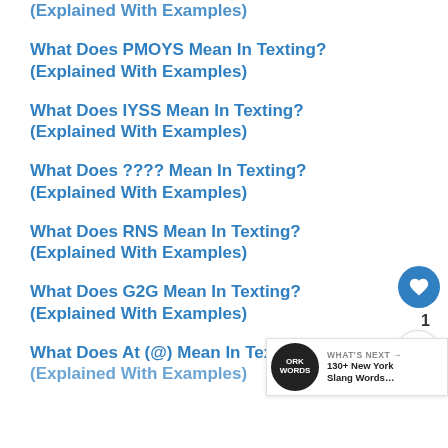What Does PMOYS Mean In Texting? (Explained With Examples)
What Does IYSS Mean In Texting? (Explained With Examples)
What Does ???? Mean In Texting? (Explained With Examples)
What Does RNS Mean In Texting? (Explained With Examples)
What Does G2G Mean In Texting? (Explained With Examples)
What Does At (@) Mean In Texting? (Explained With Examples)